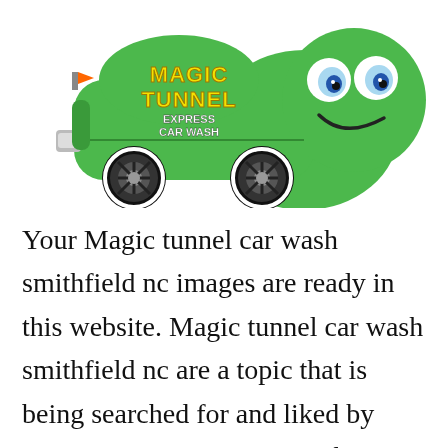[Figure (illustration): Magic Tunnel Express Car Wash cartoon mascot: a green smiling cartoon car with large eyes, yellow and white 'MAGIC TUNNEL EXPRESS CAR WASH' text on its side, with black wheels.]
Your Magic tunnel car wash smithfield nc images are ready in this website. Magic tunnel car wash smithfield nc are a topic that is being searched for and liked by netizens now. You can Get the Magic tunnel car wash smithfield nc files here. Get all royalty-free phot…